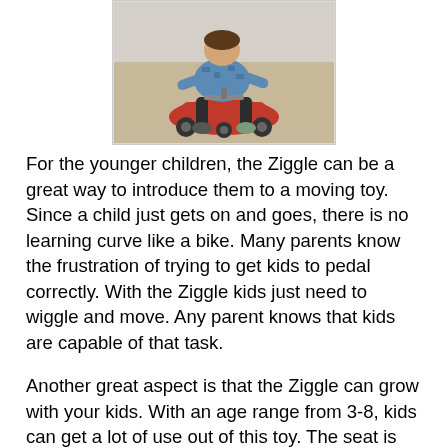[Figure (photo): A child sitting on a red Ziggle ride-on toy, viewed from above. The child is wearing a blue patterned top and dark pants.]
For the younger children, the Ziggle can be a great way to introduce them to a moving toy. Since a child just gets on and goes, there is no learning curve like a bike. Many parents know the frustration of trying to get kids to pedal correctly. With the Ziggle kids just need to wiggle and move. Any parent knows that kids are capable of that task.
Another great aspect is that the Ziggle can grow with your kids. With an age range from 3-8, kids can get a lot of use out of this toy. The seat is easily adjustable. I would feel good about purchasing this item as a gift, because of its extended use. Being a Radio Flyer item, I know that it is built to last.
As a parent, I would recommend that the kids wear helmets while riding. Just like any bike or scooter, a helmet is important. Even though the kids are close to the ground, they